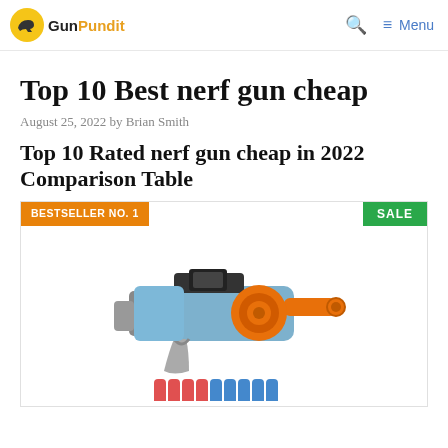GunPundit | Menu
Top 10 Best nerf gun cheap
August 25, 2022 by Brian Smith
Top 10 Rated nerf gun cheap in 2022 Comparison Table
[Figure (photo): Product card showing a blue and orange Nerf blaster toy gun with orange darts/bullets below it. Card has an orange 'BESTSELLER NO. 1' badge on the left and a green 'SALE' badge on the upper right.]